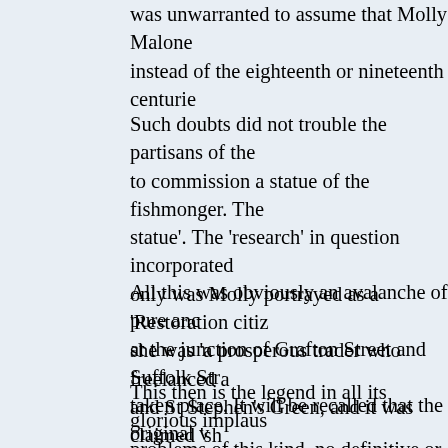was unwarranted to assume that Molly Malone instead of the eighteenth or nineteenth centurie
Such doubts did not trouble the partisans of the to commission a statue of the fishmonger. The statue'. The 'research' in question incorporated only was Molly portrayed as a 'Restoration citiz she was 'a prosperous trader who freelanced a and St Stephen's Green, and it was claimed 'sh was also clad with an extremely low-cut dress,
All this was obviously an avalanche of pure anc at the junction of Grafton Street and Suffolk Str taken place. It will be recalled that the original v seems to have been based on nothing more tha John's baptism entry, which conference just hap recreated by act of parliament in 1665 only, anc
This then is the legend in all its glorious implaus problems of this kind, no definitive or final solut 'Cockles and Mussels' predating 1850 was four not fit the mould of a conventional traditional so published firstly in Boston, Massachusetts, in a Massachusetts, in 1883 and thirdly in London in entitled 'Miscellaneous Songs, and English and